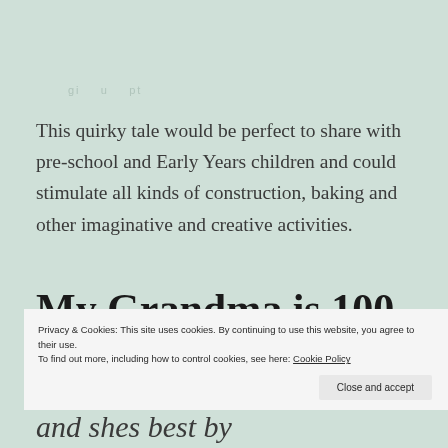This quirky tale would be perfect to share with pre-school and Early Years children and could stimulate all kinds of construction, baking and other imaginative and creative activities.
My Grandma is 100,
Privacy & Cookies: This site uses cookies. By continuing to use this website, you agree to their use. To find out more, including how to control cookies, see here: Cookie Policy
Close and accept